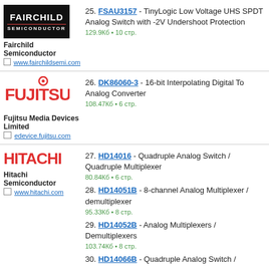[Figure (logo): Fairchild Semiconductor logo - black background with white text]
Fairchild Semiconductor
www.fairchildsemi.com
25. FSAU3157 - TinyLogic Low Voltage UHS SPDT Analog Switch with -2V Undershoot Protection
129.9Кб • 10 стр.
[Figure (logo): Fujitsu logo - red text on white]
Fujitsu Media Devices Limited
edevice.fujitsu.com
26. DK86060-3 - 16-bit Interpolating Digital To Analog Converter
108.47Кб • 6 стр.
[Figure (logo): Hitachi logo - red text on white]
Hitachi Semiconductor
www.hitachi.com
27. HD14016 - Quadruple Analog Switch / Quadruple Multiplexer
80.84Кб • 6 стр.
28. HD14051B - 8-channel Analog Multiplexer / demultiplexer
95.33Кб • 8 стр.
29. HD14052B - Analog Multiplexers / Demultiplexers
103.74Кб • 8 стр.
30. HD14066B - Quadruple Analog Switch /